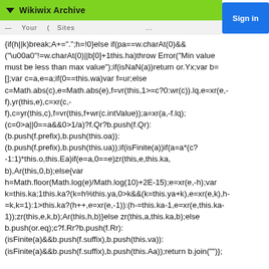Wikiwix Archive | Sign in
{if(h||k)break;A+=".";h=!0}else if(pa==w.charAt(0)&&("\u00a0"!=w.charAt(0)||b[0]+1this.ha)throw Error("Min value must be less than max value");if(isNaN(a))return or.Yx;var b=[];var c=a,e=a;if(0==this.wa)var f=ur;else c=Math.abs(c),e=Math.abs(e),f=vr(this,1>=c?0:wr(c)).lq,e=xr(e,-f),yr(this,e),c=xr(c,-f),c=yr(this,c),f=vr(this,f+wr(c.intValue));a=xr(a,-f.lq);(c=0>a||0==a&&0>1/a)?f.Qr?b.push(f.Qr):(b.push(f.prefix),b.push(this.oa)):(b.push(f.prefix),b.push(this.ua));if(isFinite(a))if(a=a*(c?-1:1)*this.o,this.Ea)if(e=a,0==e)zr(this,e,this.ka,b),Ar(this,0,b);else{var h=Math.floor(Math.log(e)/Math.log(10)+2E-15);e=xr(e,-h);var k=this.ka;1this.ka?(k=h%this.ya,0>k&&(k=this.ya+k),e=xr(e,k),h-=k,k=1):1>this.ka?(h++,e=xr(e,-1)):(h-=this.ka-1,e=xr(e,this.ka-1));zr(this,e,k,b);Ar(this,h,b)}else zr(this,a,this.ka,b);else b.push(or.eq);c?f.Rr?b.push(f.Rr):(isFinite(a)&&b.push(f.suffix),b.push(this.va)):(isFinite(a)&&b.push(f.suffix),b.push(this.Aa));return b.join("")};